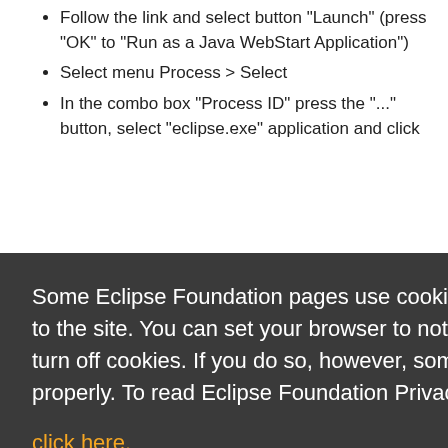Follow the link and select button "Launch" (press "OK" to "Run as a Java WebStart Application")
Select menu Process > Select
In the combo box "Process ID" press the "..." button, select "eclipse.exe" application and click
Some Eclipse Foundation pages use cookies to better serve you when you return to the site. You can set your browser to notify you before you receive a cookie or turn off cookies. If you do so, however, some areas of some sites may not function properly. To read Eclipse Foundation Privacy Policy
click here.
Decline
Allow cookies
you can obtain stack traces. If you are using Eclipse